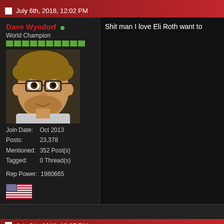July 6th, 2018, 12:02 PM
Dave Wyndorf
World Champion
[Figure (photo): Profile photo of a middle-aged man with curly hair and glasses]
Join Date: Oct 2013
Posts: 23,378
Mentioned: 352 Post(s)
Tagged: 0 Thread(s)
Rep Power: 1980665
[Figure (illustration): American flag emoji]
Shit man I love Eli Roth want to
July 6th, 2018, 12:27 PM
Bagel
ND, AMAP... I think you'll both li